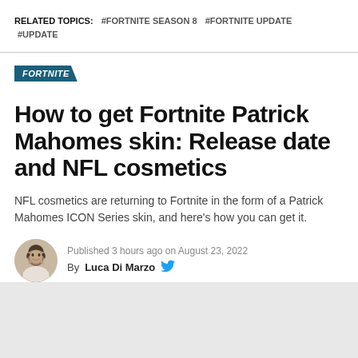RELATED TOPICS: #FORTNITE SEASON 8 #FORTNITE UPDATE #UPDATE
FORTNITE
How to get Fortnite Patrick Mahomes skin: Release date and NFL cosmetics
NFL cosmetics are returning to Fortnite in the form of a Patrick Mahomes ICON Series skin, and here's how you can get it.
Published 3 hours ago on August 23, 2022 By Luca Di Marzo